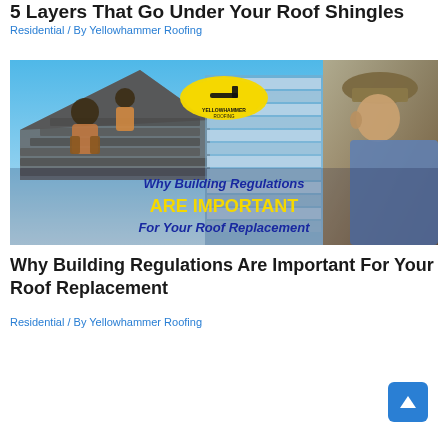5 Layers That Go Under Your Roof Shingles
Residential / By Yellowhammer Roofing
[Figure (photo): Photo showing roofing workers installing shingles on a house roof with blue underlayment visible, a person in a cap observing from the right, Yellowhammer Roofing logo badge in center. Text overlay reads: 'Why Building Regulations ARE IMPORTANT For Your Roof Replacement']
Why Building Regulations Are Important For Your Roof Replacement
Residential / By Yellowhammer Roofing